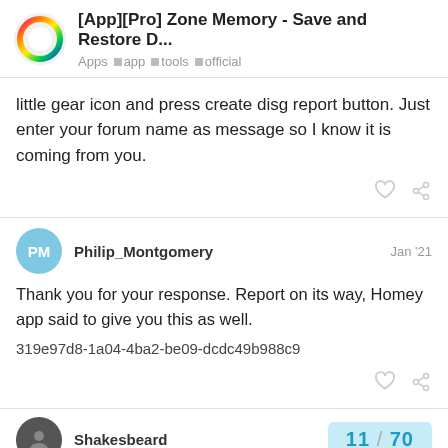[App][Pro] Zone Memory - Save and Restore D... | Apps  app  tools  official
little gear icon and press create disg report button. Just enter your forum name as message so I know it is coming from you.
Philip_Montgomery  Jan '21
Thank you for your response. Report on its way, Homey app said to give you this as well.
319e97d8-1a04-4ba2-be09-dcdc49b988c9
11 / 70
Shakesbeard